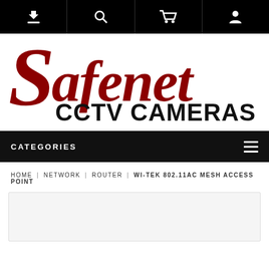Navigation bar with download, search, cart, and user icons
[Figure (logo): Safenet CCTV Cameras logo — large red italic 'Safenet' text above bold black 'CCTV CAMERAS' text]
CATEGORIES
HOME | NETWORK | ROUTER | WI-TEK 802.11AC MESH ACCESS POINT
[Figure (screenshot): Product image area — light grey box, partial product image visible]